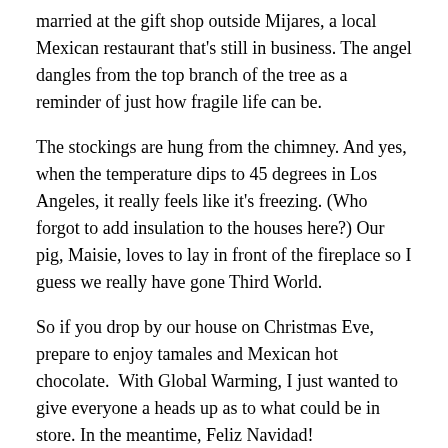married at the gift shop outside Mijares, a local Mexican restaurant that's still in business. The angel dangles from the top branch of the tree as a reminder of just how fragile life can be.
The stockings are hung from the chimney. And yes, when the temperature dips to 45 degrees in Los Angeles, it really feels like it's freezing. (Who forgot to add insulation to the houses here?) Our pig, Maisie, loves to lay in front of the fireplace so I guess we really have gone Third World.
So if you drop by our house on Christmas Eve, prepare to enjoy tamales and Mexican hot chocolate.  With Global Warming, I just wanted to give everyone a heads up as to what could be in store. In the meantime, Feliz Navidad!